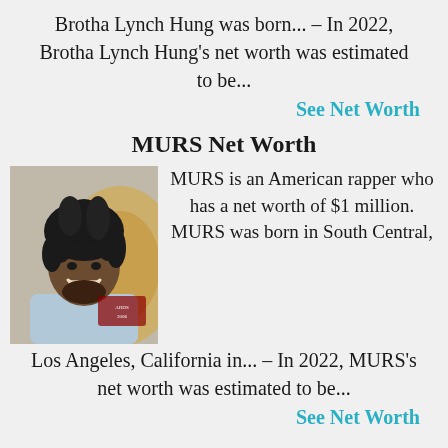Brotha Lynch Hung was born... – In 2022, Brotha Lynch Hung's net worth was estimated to be...
See Net Worth
MURS Net Worth
[Figure (photo): Photo of MURS, an American rapper, smiling at an event]
MURS is an American rapper who has a net worth of $1 million. MURS was born in South Central, Los Angeles, California in... – In 2022, MURS's net worth was estimated to be...
See Net Worth